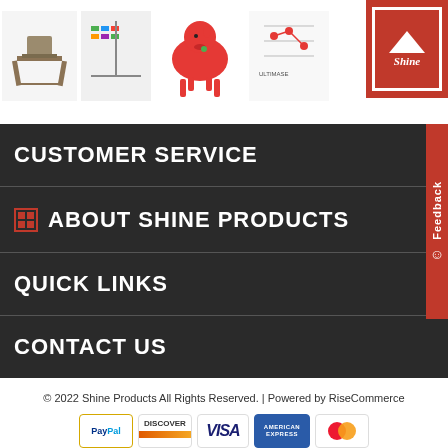[Figure (photo): Product images strip showing playground equipment, toys, a red bouncy horse, and other products with Shine logo in top right corner]
CUSTOMER SERVICE
ABOUT SHINE PRODUCTS
QUICK LINKS
CONTACT US
© 2022 Shine Products All Rights Reserved. | Powered by RiseCommerce
[Figure (logo): Payment method icons: PayPal, Discover, Visa, American Express, MasterCard]